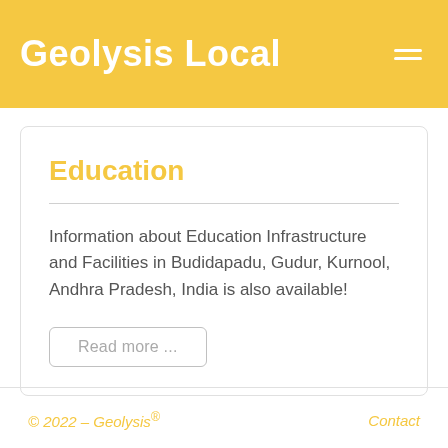Geolysis Local
Education
Information about Education Infrastructure and Facilities in Budidapadu, Gudur, Kurnool, Andhra Pradesh, India is also available!
© 2022 – Geolysis® Contact